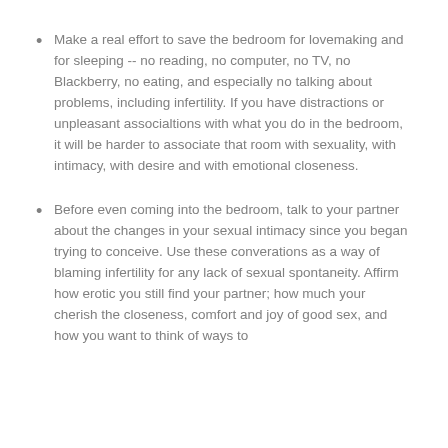Make a real effort to save the bedroom for lovemaking and for sleeping -- no reading, no computer, no TV, no Blackberry, no eating, and especially no talking about problems, including infertility. If you have distractions or unpleasant associaltions with what you do in the bedroom, it will be harder to associate that room with sexuality, with intimacy, with desire and with emotional closeness.
Before even coming into the bedroom, talk to your partner about the changes in your sexual intimacy since you began trying to conceive. Use these converations as a way of blaming infertility for any lack of sexual spontaneity. Affirm how erotic you still find your partner; how much your cherish the closeness, comfort and joy of good sex, and how you want to think of ways to